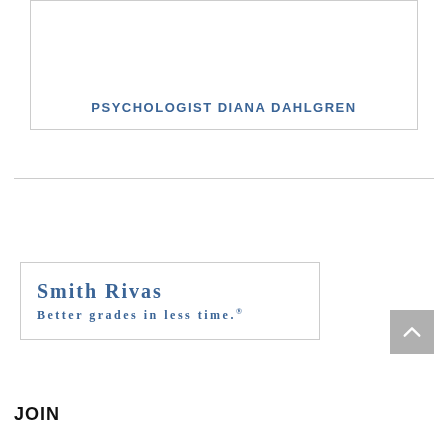[Figure (other): Card box with text PSYCHOLOGIST DIANA DAHLGREN]
PSYCHOLOGIST DIANA DAHLGREN
[Figure (logo): Smith Rivas advertisement box with text: SMITH RIVAS / BETTER GRADES IN LESS TIME.]
JOIN